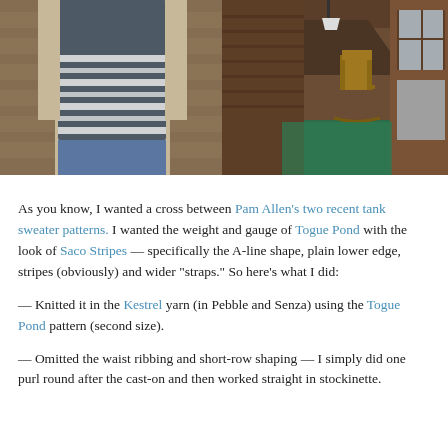[Figure (photo): Back view of a person wearing a dark blue/grey striped sleeveless knit tank sweater, standing against a wooden wall backdrop, wearing jeans]
[Figure (photo): Interior hallway/porch of a rustic wooden cabin with a rocking chair, green carpet, wooden walls, windows on the right, and a hanging light]
As you know, I wanted a cross between Pam Allen's two recent tank sweater patterns. I wanted the weight and gauge of Togue Pond with the look of Saco Stripes — specifically the A-line shape, plain lower edge, stripes (obviously) and wider “straps.” So here’s what I did:
— Knitted it in the Kestrel yarn (in Pebble and Senza) using the Togue Pond pattern (second size).
— Omitted the waist ribbing and short-row shaping — I simply did one purl round after the cast-on and then worked straight in stockinette.